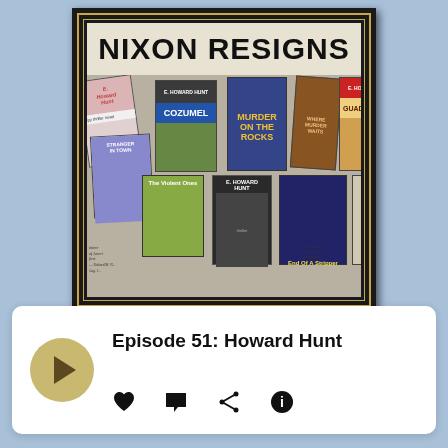[Figure (illustration): Podcast episode artwork showing a newspaper headline 'NIXON RESIGNS' above a collage of E. Howard Hunt pulp fiction book covers including 'Cozumel', 'Murder on the Rocks', 'Guadalajara', 'Stranger in Town', 'The Violent Ones', 'End Of A Stripper', 'The House on Q Street', framed in black with gold border]
Episode 51: Howard Hunt